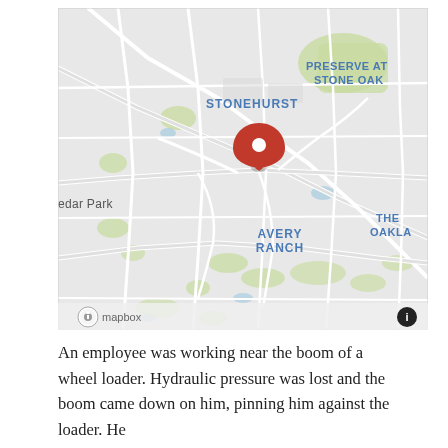[Figure (map): Mapbox street map showing area near Stonehurst and Preserve at Stone Oak neighborhoods, with a red location pin marker. Also shows Cedar Park, Avery Ranch, and The Oaklands areas. Mapbox logo and info button visible at bottom.]
An employee was working near the boom of a wheel loader. Hydraulic pressure was lost and the boom came down on him, pinning him against the loader. He